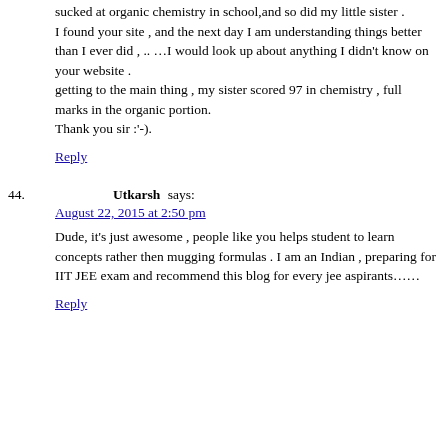sucked at organic chemistry in school,and so did my little sister .
I found your site , and the next day I am understanding things better than I ever did , .. …I would look up about anything I didn't know on your website .
getting to the main thing , my sister scored 97 in chemistry , full marks in the organic portion.
Thank you sir :'-).
Reply
44.   Utkarsh says:
August 22, 2015 at 2:50 pm
Dude, it's just awesome , people like you helps student to learn concepts rather then mugging formulas . I am an Indian , preparing for IIT JEE exam and recommend this blog for every jee aspirants……
Reply